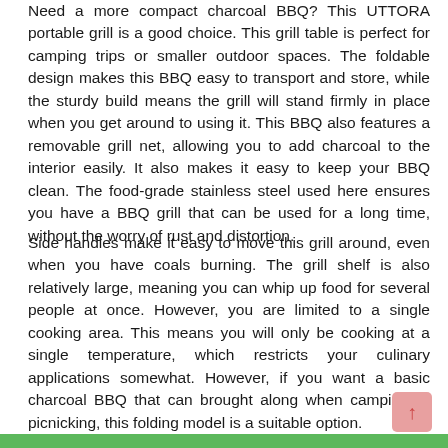Need a more compact charcoal BBQ? This UTTORA portable grill is a good choice. This grill table is perfect for camping trips or smaller outdoor spaces. The foldable design makes this BBQ easy to transport and store, while the sturdy build means the grill will stand firmly in place when you get around to using it. This BBQ also features a removable grill net, allowing you to add charcoal to the interior easily. It also makes it easy to keep your BBQ clean. The food-grade stainless steel used here ensures you have a BBQ grill that can be used for a long time, without the worry of rust and distortion.
Side handles make it easy to move this grill around, even when you have coals burning. The grill shelf is also relatively large, meaning you can whip up food for several people at once. However, you are limited to a single cooking area. This means you will only be cooking at a single temperature, which restricts your culinary applications somewhat. However, if you want a basic charcoal BBQ that can brought along when camping or picnicking, this folding model is a suitable option.